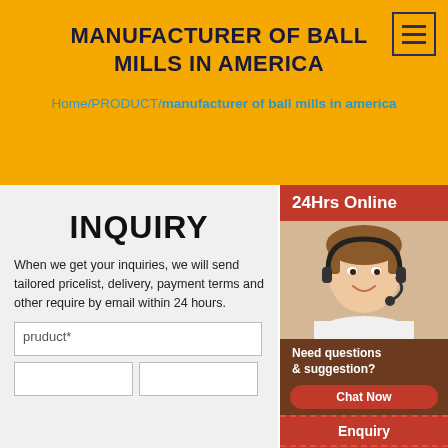MANUFACTURER OF BALL MILLS IN AMERICA
Home/PRODUCT/manufacturer of ball mills in america
INQUIRY
When we get your inquiries, we will send tailored pricelist, delivery, payment terms and other requirements by email within 24 hours.
pruduct*
[Figure (photo): Customer service representative with headset, 24Hrs Online banner, Need questions & suggestion panel with Chat Now button, Enquiry and limingjlmofen sidebar sections]
24Hrs Online
Need questions & suggestion?
Chat Now
Enquiry
limingjlmofen